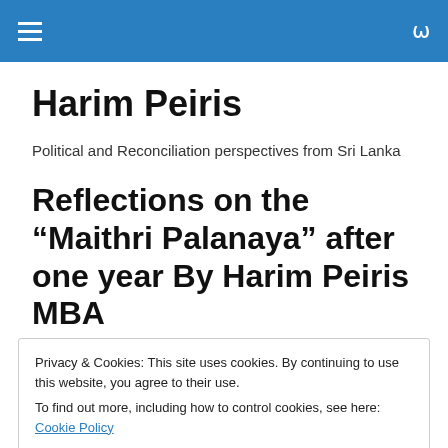Harim Peiris
Political and Reconciliation perspectives from Sri Lanka
Reflections on the “Maithri Palanaya” after one year By Harim Peiris MBA
Privacy & Cookies: This site uses cookies. By continuing to use this website, you agree to their use.
To find out more, including how to control cookies, see here: Cookie Policy
The first year of...